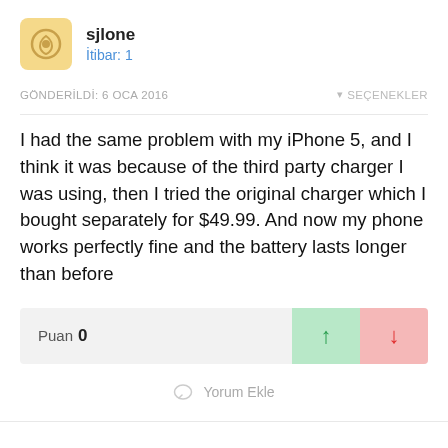sjlone
İtibar: 1
GÖNDERİLDİ: 6 OCA 2016
SEÇENEKLER
I had the same problem with my iPhone 5, and I think it was because of the third party charger I was using, then I tried the original charger which I bought separately for $49.99. And now my phone works perfectly fine and the battery lasts longer than before
Puan 0
Yorum Ekle